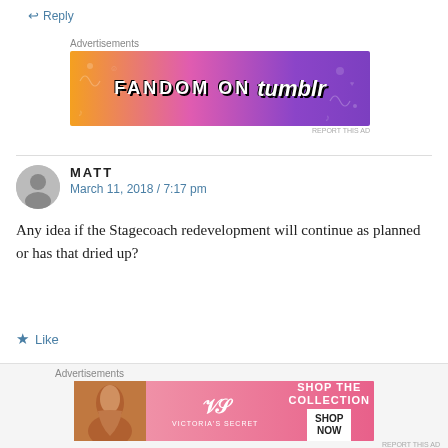Reply
[Figure (advertisement): Fandom on Tumblr banner advertisement with colorful orange to purple gradient background]
MATT
March 11, 2018 / 7:17 pm
Any idea if the Stagecoach redevelopment will continue as planned or has that dried up?
Like
Reply
[Figure (advertisement): Victoria's Secret Shop the Collection advertisement banner]